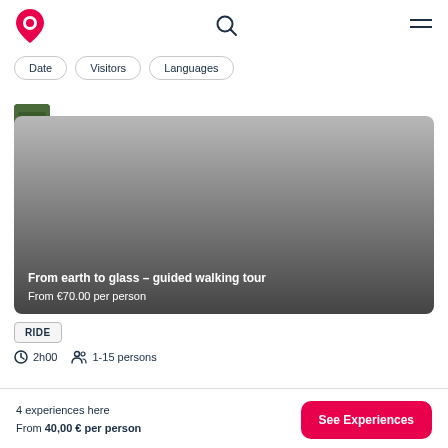Navigation header with logo, search icon, and menu icon
Date
Visitors
Languages
[Figure (photo): Card image showing a landscape/nature scene with gradient overlay. Title: 'From earth to glass - guided walking tour'. Price: 'From €70.00 per person']
RIDE
2h00   1-15 persons
4 experiences here
From 40,00 € per person
See Experiences